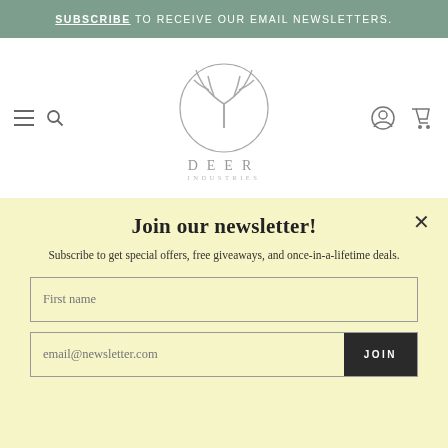SUBSCRIBE TO RECEIVE OUR EMAIL NEWSLETTERS.
[Figure (logo): Deer Industries logo — antler illustration inside a circle with text DEER INDUSTRIES below]
Join our newsletter!
Subscribe to get special offers, free giveaways, and once-in-a-lifetime deals.
First name (input field placeholder)
email@newsletter.com (input field with JOIN button)